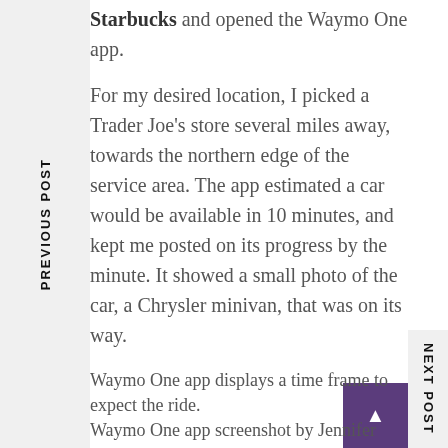Starbucks and opened the Waymo One app.
For my desired location, I picked a Trader Joe's store several miles away, towards the northern edge of the service area. The app estimated a car would be available in 10 minutes, and kept me posted on its progress by the minute. It showed a small photo of the car, a Chrysler minivan, that was on its way.
Waymo One app displays a time frame to expect the ride.
Waymo One app screenshot by Jennifer Elias
THE RIDE
I couldn't find the car at first.
The map showed me where it was, but since I wasn't familiar with the area, that wasn't